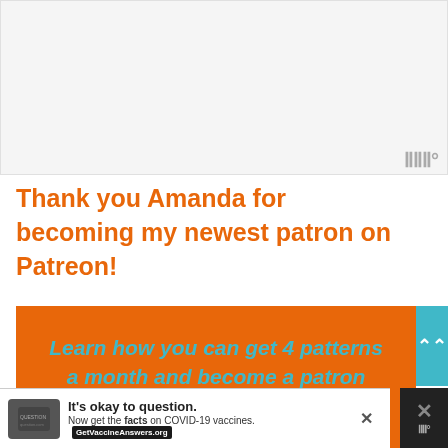[Figure (other): Blank/white image placeholder area at top of page]
Thank you Amanda for becoming my newest patron on Patreon!
[Figure (infographic): Orange banner with teal italic bold text reading: Learn how you can get 4 patterns a month and become a patron...]
[Figure (other): Advertisement bar at bottom: It's okay to question. Now get the facts on COVID-19 vaccines. GetVaccineAnswers.org]